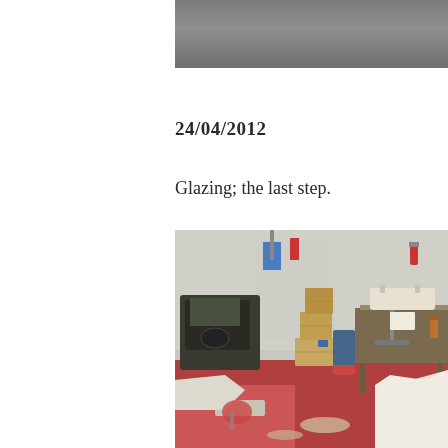[Figure (photo): Top portion of a photo showing a grey/dark surface, partially cropped at the top of the page.]
24/04/2012
Glazing; the last step.
[Figure (photo): Workshop interior with a red floor, cardboard boxes stacked in the center, a car door on the left, workbenches, tools, fire extinguisher on wall, and what appears to be aircraft or model parts on a stand at the right.]